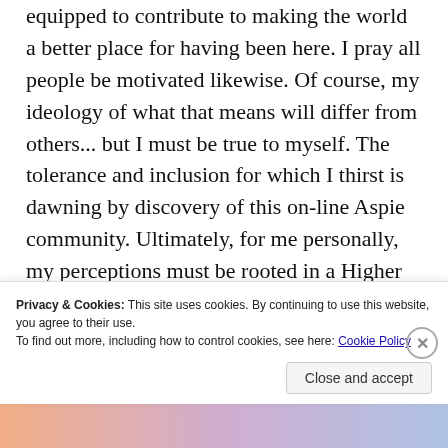equipped to contribute to making the world a better place for having been here. I pray all people be motivated likewise. Of course, my ideology of what that means will differ from others... but I must be true to myself. The tolerance and inclusion for which I thirst is dawning by discovery of this on-line Aspie community. Ultimately, for me personally, my perceptions must be rooted in a Higher Power of omniscient, omnipotent and omnipresent grace and truth, love and wisdom, hope, help and
Privacy & Cookies: This site uses cookies. By continuing to use this website, you agree to their use.
To find out more, including how to control cookies, see here: Cookie Policy
[Figure (photo): Partial view of a colorful image at the bottom of the page, showing orange, purple and blue gradient tones, partially obscured by the cookie banner.]